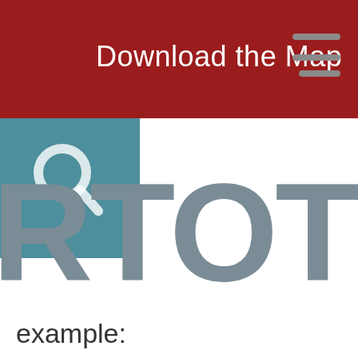[Figure (screenshot): Dark red header bar with white text 'Download the Map' and a hamburger menu icon (three horizontal lines) in gray on the right side]
[Figure (logo): Partial logo showing large gray letters 'RTOTY' cropped on right, with a teal/blue square in upper left containing a white magnifying glass icon. The letters are large gray sans-serif text.]
example: